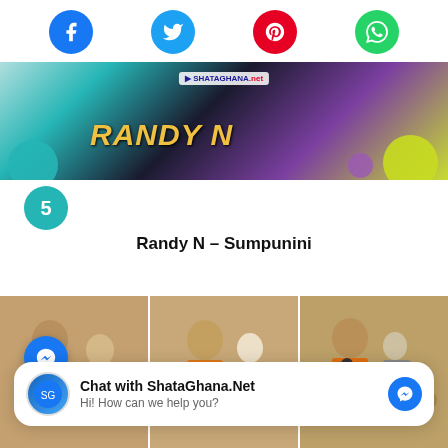[Figure (other): Social media share buttons: Facebook (blue), Twitter (cyan), Pinterest (red), WhatsApp (green)]
[Figure (photo): Hero banner image showing RANDY N text in gold italic over colorful background with teal, purple, black, and yellow-green colors. ShataGhana watermark visible.]
5
Randy N – Sumpunini
[Figure (photo): Three-panel collage of photos showing women singing with microphones at an outdoor event. ShataGhana.net watermark in center panel.]
Chat with ShataGhana.Net
Hi! How can we help you?